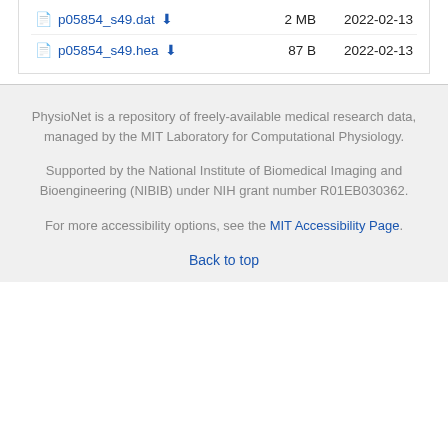p05854_s49.dat  2 MB  2022-02-13
p05854_s49.hea  87 B  2022-02-13
PhysioNet is a repository of freely-available medical research data, managed by the MIT Laboratory for Computational Physiology.
Supported by the National Institute of Biomedical Imaging and Bioengineering (NIBIB) under NIH grant number R01EB030362.
For more accessibility options, see the MIT Accessibility Page.
Back to top